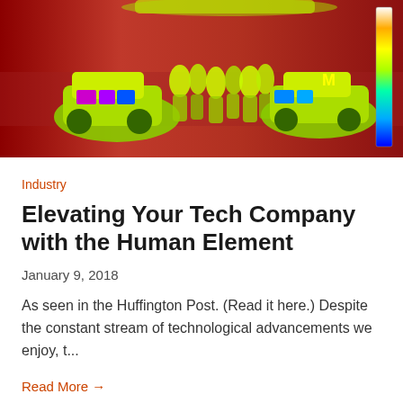[Figure (photo): Thermal infrared image showing military vehicles and personnel with a red/green/yellow heat map color scheme. A color scale bar is visible on the right side.]
Industry
Elevating Your Tech Company with the Human Element
January 9, 2018
As seen in the Huffington Post. (Read it here.) Despite the constant stream of technological advancements we enjoy, t...
Read More →
[Figure (photo): Partial view of a sandy/rocky terrain photo at the bottom of the page, partially cropped.]